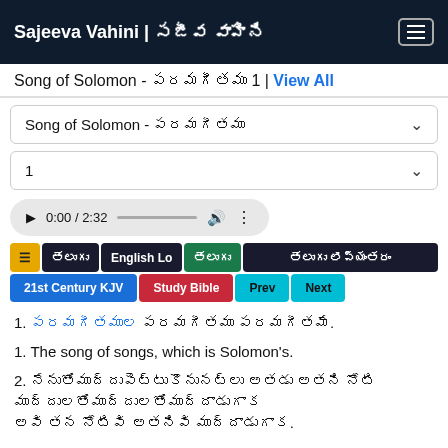Sajeeva Vahini | సజీవ వాహిని
Song of Solomon - పరమగీతము 1 | View All
Song of Solomon - పరమగీతము (dropdown)
1 (chapter dropdown)
0:00 / 2:32 (audio player)
తెలుగు | English Lo | తెలుగు | తెలుగు లిప్యంతరం | 21st Century KJV | Study Bible | Prev | Next
1. పరమగీతముల పరమగీతము.
1. The song of songs, which is Solomon's.
2. నేను నీతో ముద్దుపెట్టుకొనునట్లు అతడు నన్ను తన నోటి ముద్దులతో ముద్దాడుగాక.